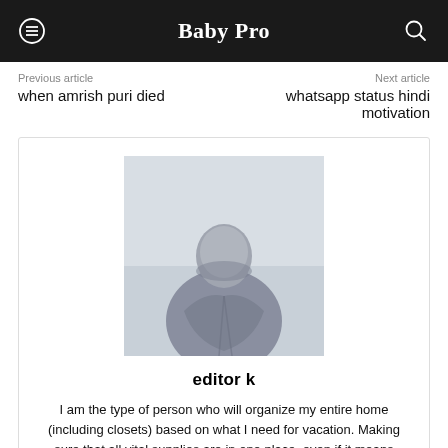Baby Pro
Previous article
Next article
when amrish puri died
whatsapp status hindi motivation
[Figure (photo): Person seen from behind, wearing a hooded robe or cloak, facing away]
editor k
I am the type of person who will organize my entire home (including closets) based on what I need for vacation. Making sure that all vital supplies are in one place, even if it means putting them into a carry-on and checking out early from work so as not to miss any flights!
[Figure (logo): Xing social media logo icon]